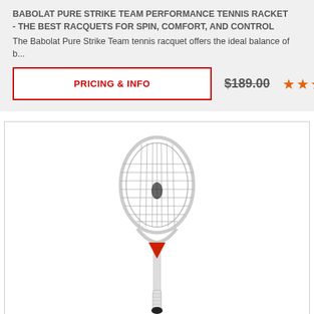BABOLAT PURE STRIKE TEAM PERFORMANCE TENNIS RACKET - THE BEST RACQUETS FOR SPIN, COMFORT, AND CONTROL
The Babolat Pure Strike Team tennis racquet offers the ideal balance of b...
PRICING & INFO
$189.00 ★★★★★
[Figure (photo): White Babolat Pure Strike Team tennis racquet with red accents on the handle, shown at an angle against a white background]
BABOLAT PURE STRIKE TEAM RACQUET